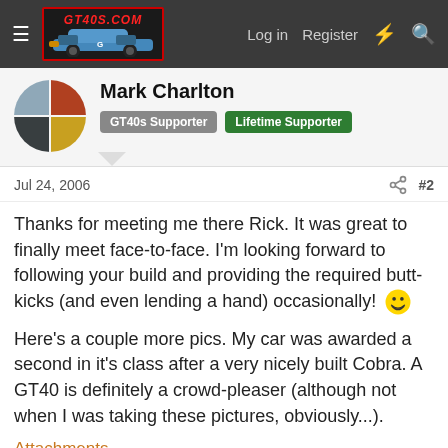GT40s.com — Log in  Register
Mark Charlton
GT40s Supporter  Lifetime Supporter
Jul 24, 2006   #2
Thanks for meeting me there Rick. It was great to finally meet face-to-face. I'm looking forward to following your build and providing the required butt-kicks (and even lending a hand) occasionally! 😄
Here's a couple more pics. My car was awarded a second in it's class after a very nicely built Cobra. A GT40 is definitely a crowd-pleaser (although not when I was taking these pictures, obviously...).
Attachments
[Figure (photo): Two thumbnail photos of GT40 cars at a car show]